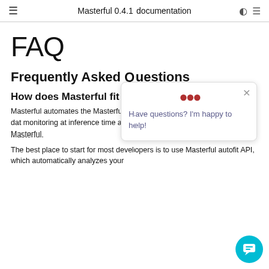Masterful 0.4.1 documentation
FAQ
Frequently Asked Questions
How does Masterful fit into my training workflow?
Masterful automates the ... Masterful is used after ag... labeling your training dat... monitoring at inference time are outside the scope and downstream of Masterful.
The best place to start for most developers is to use Masterful autofit API, which automatically analyzes your